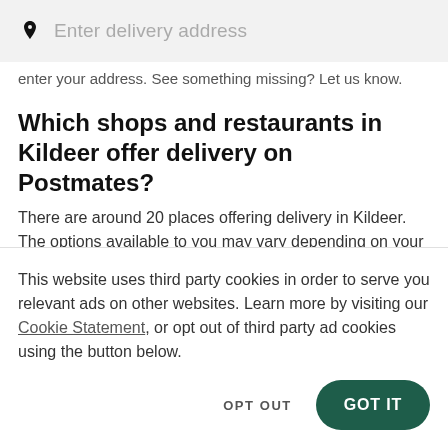[Figure (screenshot): Search bar with map pin icon and placeholder text 'Enter delivery address' on a light grey background]
enter your address. See something missing? Let us know.
Which shops and restaurants in Kildeer offer delivery on Postmates?
There are around 20 places offering delivery in Kildeer. The options available to you may vary depending on your location so enter your delivery address, whether you're in 60047, 60074, 60010 or elsewhere, to check out the delivery spots nearby.
This website uses third party cookies in order to serve you relevant ads on other websites. Learn more by visiting our Cookie Statement, or opt out of third party ad cookies using the button below.